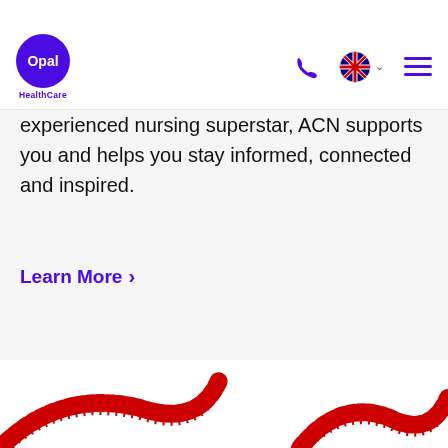Opal HealthCare
experienced nursing superstar, ACN supports you and helps you stay informed, connected and inspired.
Learn More >
[Figure (logo): Partial red decorative logo/graphic at bottom of page]